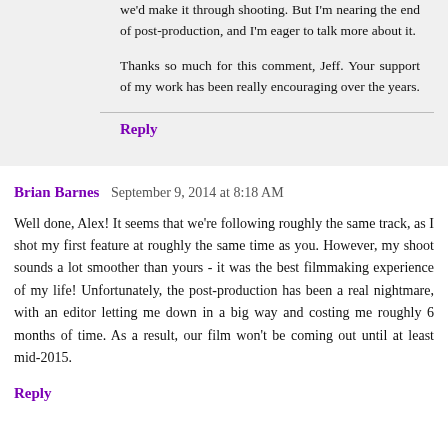we'd make it through shooting. But I'm nearing the end of post-production, and I'm eager to talk more about it.

Thanks so much for this comment, Jeff. Your support of my work has been really encouraging over the years.
Reply
Brian Barnes  September 9, 2014 at 8:18 AM
Well done, Alex! It seems that we're following roughly the same track, as I shot my first feature at roughly the same time as you. However, my shoot sounds a lot smoother than yours - it was the best filmmaking experience of my life! Unfortunately, the post-production has been a real nightmare, with an editor letting me down in a big way and costing me roughly 6 months of time. As a result, our film won't be coming out until at least mid-2015.
Reply